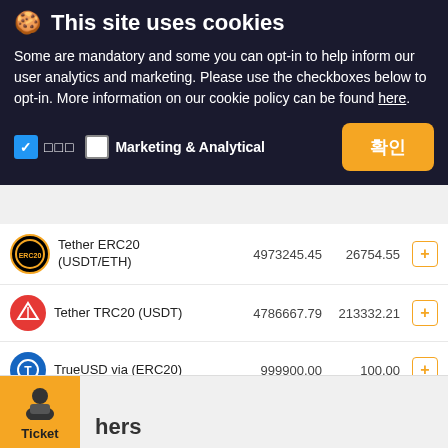🍪 This site uses cookies
Some are mandatory and some you can opt-in to help inform our user analytics and marketing. Please use the checkboxes below to opt-in. More information on our cookie policy can be found here.
| Cryptocurrency | Value 1 | Value 2 | Action |
| --- | --- | --- | --- |
| Tether ERC20 (USDT/ETH) | 4973245.45 | 26754.55 | + |
| Tether TRC20 (USDT) | 4786667.79 | 213332.21 | + |
| TrueUSD via (ERC20) | 999900.00 | 100.00 | + |
| USDC via (ERC20) | 24992.57 | 7.43 | + |